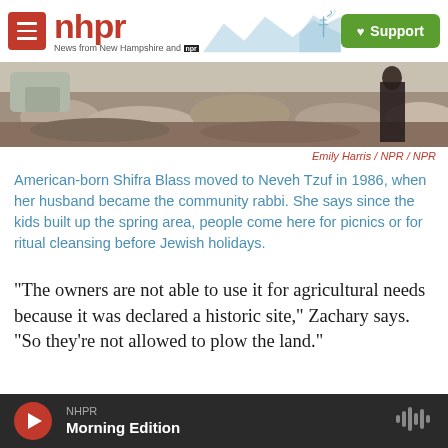nhpr — News from New Hampshire and NPR | Support
[Figure (photo): Partial outdoor photo showing rocky ground/stones, appears to be a spring or natural area]
Emily Harris / NPR / NPR
American-born Shifra Blass moved to Neveh Tzuf in 1986, when her husband became the community rabbi. She says since the kids built up the spring area, people come here for picnics or for ritual cleansing before Jewish holidays.
"The owners are not able to use it for agricultural needs because it was declared a historic site," Zachary says. "So they're not allowed to plow the land."
He has read the archaeological report and says the
NHPR Morning Edition